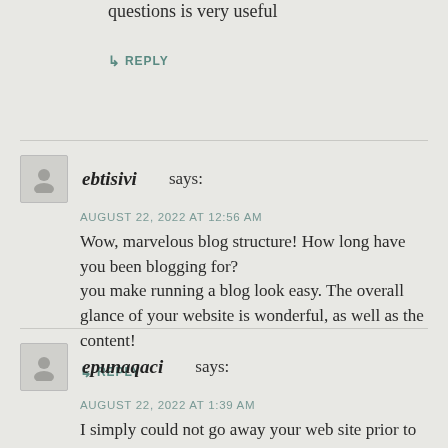questions is very useful
↳ REPLY
ebtisivi says:
AUGUST 22, 2022 AT 12:56 AM
Wow, marvelous blog structure! How long have you been blogging for?
you make running a blog look easy. The overall glance of your website is wonderful, as well as the content!
↳ REPLY
epunaqaci says:
AUGUST 22, 2022 AT 1:39 AM
I simply could not go away your web site prior to suggesting that I actually enjoyed the standard information an individual supply to your visitors?